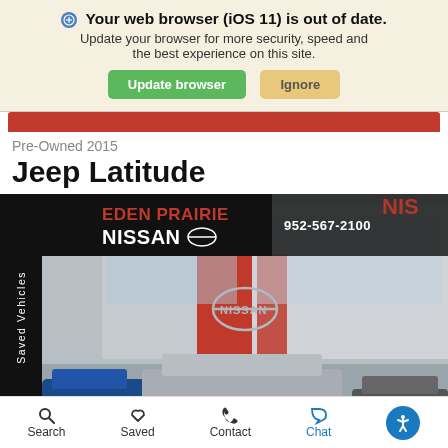Your web browser (iOS 11) is out of date. Update your browser for more security, speed and the best experience on this site.
Update browser | Ignore
Pre-Owned 2015
Jeep Latitude
[Figure (photo): Eden Prairie Nissan dealership exterior with a silver Jeep Patriot and other vehicles in the foreground. Sign shows 952-567-2100.]
Search  Saved  Contact  Chat  [Accessibility]